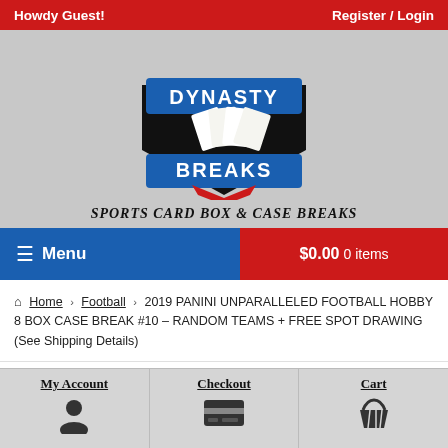Howdy Guest!   Register / Login
[Figure (logo): Dynasty Breaks logo: shield/crest shape with blue banner top reading DYNASTY, black center with playing cards fanned out, blue banner bottom reading BREAKS, red ribbon accent below]
Sports Card Box & Case Breaks
☰ Menu   $0.00 0 items
Home › Football › 2019 PANINI UNPARALLELED FOOTBALL HOBBY 8 BOX CASE BREAK #10 – RANDOM TEAMS + FREE SPOT DRAWING (See Shipping Details)
My Account   Checkout   Cart